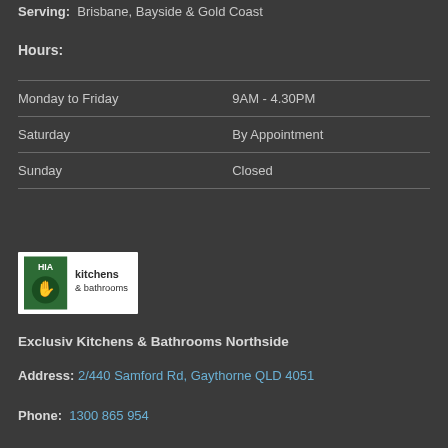Serving: Brisbane, Bayside & Gold Coast
Hours:
| Day | Hours |
| --- | --- |
| Monday to Friday | 9AM - 4.30PM |
| Saturday | By Appointment |
| Sunday | Closed |
[Figure (logo): HIA Kitchens & Bathrooms logo — green background badge with HIA text and kitchens & bathrooms text]
Exclusiv Kitchens & Bathrooms Northside
Address: 2/440 Samford Rd, Gaythorne QLD 4051
Phone: 1300 865 954